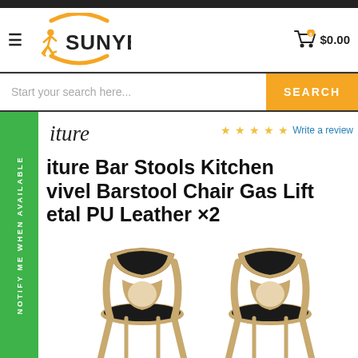[Figure (logo): Sunyee logo with running person icon and orange arc]
$0.00
Start your search here...
SEARCH
NOTIFY ME WHEN AVAILABLE
iture
Write a review
iture Bar Stools Kitchen vivel Barstool Chair Gas Lift etal PU Leather ×2
[Figure (photo): Two bar stools with wooden curved backs and black PU leather seats]